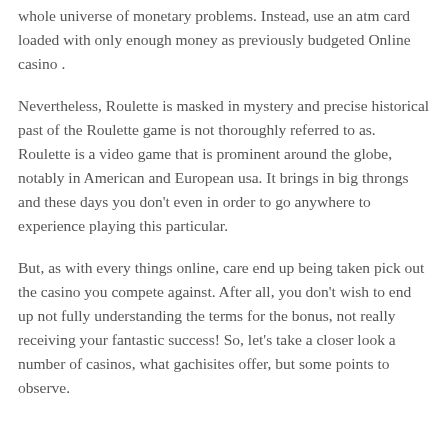whole universe of monetary problems. Instead, use an atm card loaded with only enough money as previously budgeted Online casino .
Nevertheless, Roulette is masked in mystery and precise historical past of the Roulette game is not thoroughly referred to as. Roulette is a video game that is prominent around the globe, notably in American and European usa. It brings in big throngs and these days you don't even in order to go anywhere to experience playing this particular.
But, as with every things online, care end up being taken pick out the casino you compete against. After all, you don't wish to end up not fully understanding the terms for the bonus, not really receiving your fantastic success! So, let's take a closer look a number of casinos, what gachisites offer, but some points to observe.